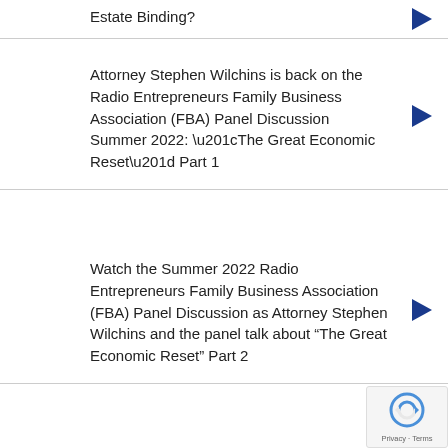Estate Binding?
Attorney Stephen Wilchins is back on the Radio Entrepreneurs Family Business Association (FBA) Panel Discussion Summer 2022: “The Great Economic Reset” Part 1
Watch the Summer 2022 Radio Entrepreneurs Family Business Association (FBA) Panel Discussion as Attorney Stephen Wilchins and the panel talk about “The Great Economic Reset” Part 2
Watch the final Summer 2022 Radio Entrepreneurs Family Business Association (FBA) Panel